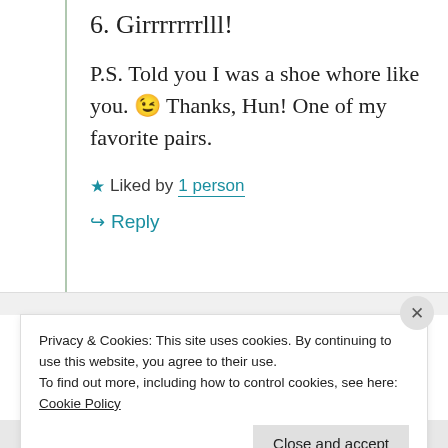6. Girrrrrrrlll!
P.S. Told you I was a shoe whore like you. 😉 Thanks, Hun! One of my favorite pairs.
★ Liked by 1 person
↪ Reply
Privacy & Cookies: This site uses cookies. By continuing to use this website, you agree to their use.
To find out more, including how to control cookies, see here: Cookie Policy
Close and accept